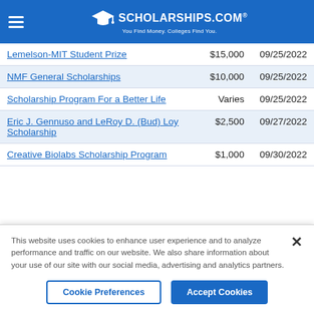SCHOLARSHIPS.COM — You Find Money. Colleges Find You.
| Scholarship Name | Amount | Deadline |
| --- | --- | --- |
| Lemelson-MIT Student Prize | $15,000 | 09/25/2022 |
| NMF General Scholarships | $10,000 | 09/25/2022 |
| Scholarship Program For a Better Life | Varies | 09/25/2022 |
| Eric J. Gennuso and LeRoy D. (Bud) Loy Scholarship | $2,500 | 09/27/2022 |
| Creative Biolabs Scholarship Program | $1,000 | 09/30/2022 |
This website uses cookies to enhance user experience and to analyze performance and traffic on our website. We also share information about your use of our site with our social media, advertising and analytics partners.
Cookie Preferences | Accept Cookies